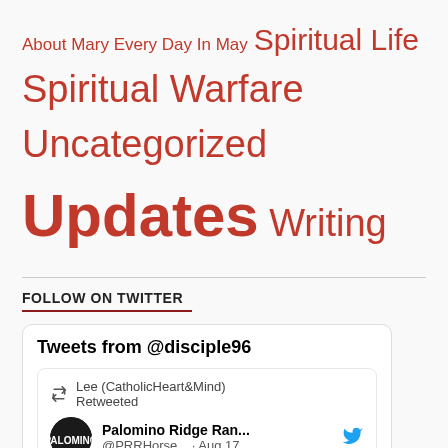About Mary Every Day In May  Spiritual Life  Spiritual Warfare  Uncategorized  Updates  Writing
FOLLOW ON TWITTER
[Figure (screenshot): Embedded Twitter widget showing 'Tweets from @disciple96'. Contains a retweet by Lee (CatholicHeart&Mind) of Palomino Ridge Ran... (@PRRHorse... · Aug 17), with text: 'Here at PRRHR there are many special...']